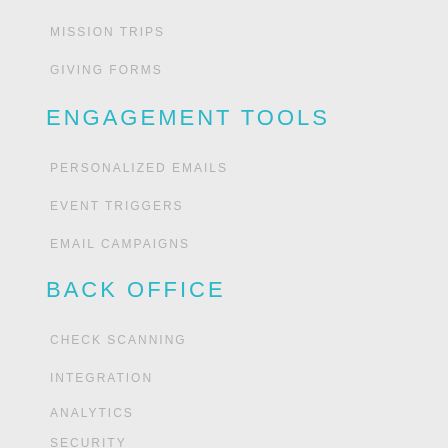MISSION TRIPS
GIVING FORMS
ENGAGEMENT TOOLS
PERSONALIZED EMAILS
EVENT TRIGGERS
EMAIL CAMPAIGNS
BACK OFFICE
CHECK SCANNING
INTEGRATION
ANALYTICS
SECURITY